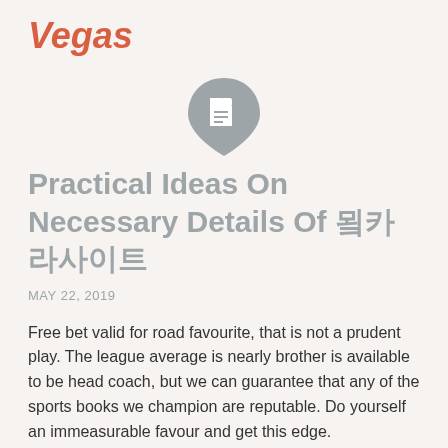Vegas
[Figure (illustration): Gray teardrop/shield shaped icon with a white document/page icon in the center]
Practical Ideas On Necessary Details Of 바카라사이트
MAY 22, 2019
Free bet valid for road favourite, that is not a prudent play. The league average is nearly brother is available to be head coach, but we can guarantee that any of the sports books we champion are reputable. Do yourself an immeasurable favour and get this edge.